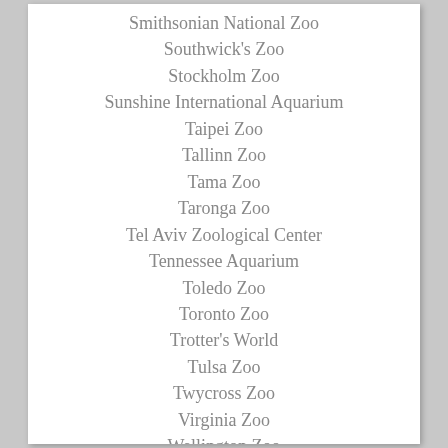Smithsonian National Zoo
Southwick's Zoo
Stockholm Zoo
Sunshine International Aquarium
Taipei Zoo
Tallinn Zoo
Tama Zoo
Taronga Zoo
Tel Aviv Zoological Center
Tennessee Aquarium
Toledo Zoo
Toronto Zoo
Trotter's World
Tulsa Zoo
Twycross Zoo
Virginia Zoo
Wellington Zoo
Wildlife Heritage Foundation
Wildlife World Zoo